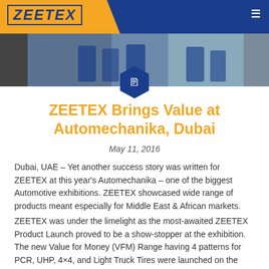ZEETEX
[Figure (photo): Header photo strip showing Zeetex exhibition display with people in blue uniforms at Automechanika Dubai]
ZEETEX Brings Value at Automechanika, Dubai
May 11, 2016
Dubai, UAE – Yet another success story was written for ZEETEX at this year's Automechanika – one of the biggest Automotive exhibitions. ZEETEX showcased wide range of products meant especially for Middle East & African markets.
ZEETEX was under the limelight as the most-awaited ZEETEX Product Launch proved to be a show-stopper at the exhibition. The new Value for Money (VFM) Range having 4 patterns for PCR, UHP, 4×4, and Light Truck Tires were launched on the second day of the exhibition.